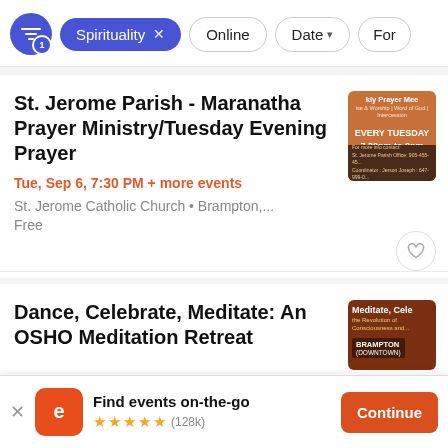Filter bar: Spirituality (active), Online, Date, Form...
St. Jerome Parish - Maranatha Prayer Ministry/Tuesday Evening Prayer
Tue, Sep 6, 7:30 PM + more events
St. Jerome Catholic Church • Brampton,...
Free
[Figure (illustration): Thumbnail image for the weekly prayer meeting event with orange/brown background]
Dance, Celebrate, Meditate: An OSHO Meditation Retreat
[Figure (illustration): Thumbnail image for the Meditate Celebrate event in Brampton Downtown]
Find events on-the-go ★★★★★ (128k)
Continue